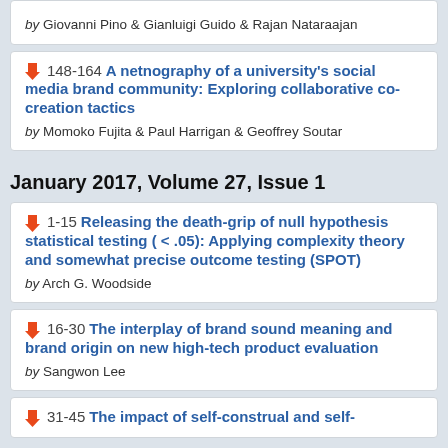by Giovanni Pino & Gianluigi Guido & Rajan Nataraajan
148-164 A netnography of a university's social media brand community: Exploring collaborative co-creation tactics by Momoko Fujita & Paul Harrigan & Geoffrey Soutar
January 2017, Volume 27, Issue 1
1-15 Releasing the death-grip of null hypothesis statistical testing ( < .05): Applying complexity theory and somewhat precise outcome testing (SPOT) by Arch G. Woodside
16-30 The interplay of brand sound meaning and brand origin on new high-tech product evaluation by Sangwon Lee
31-45 The impact of self-construal and self-